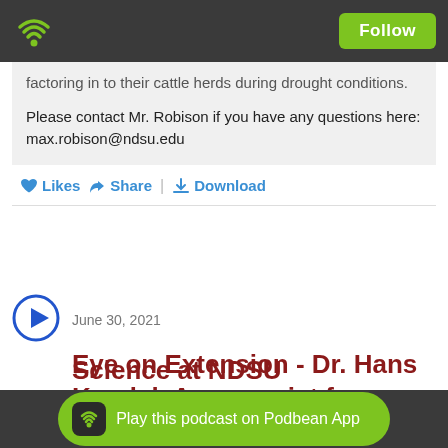Follow
factoring in to their cattle herds during drought conditions.
Please contact Mr. Robison if you have any questions here: max.robison@ndsu.edu
Likes  Share  |  Download
June 30, 2021
Eye on Extension - Dr. Hans Kandel, Agronomist for Broadleaf Crops for Science at NDSU
Play this podcast on Podbean App